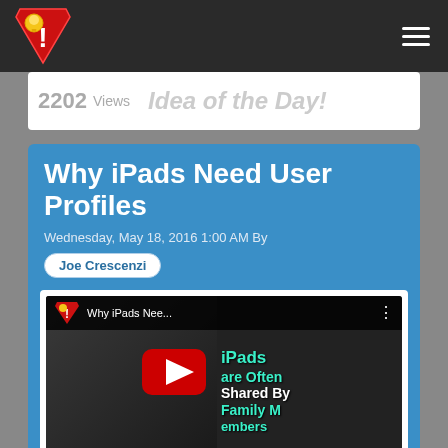2202 Views
Idea of the Day!
Why iPads Need User Profiles
Wednesday, May 18, 2016 1:00 AM By
Joe Crescenzi
[Figure (screenshot): YouTube video thumbnail for 'Why iPads Nee...' showing a man and text overlay 'iPads are Often Shared By Family Members' with a red play button in the center]
Sharing iPads...